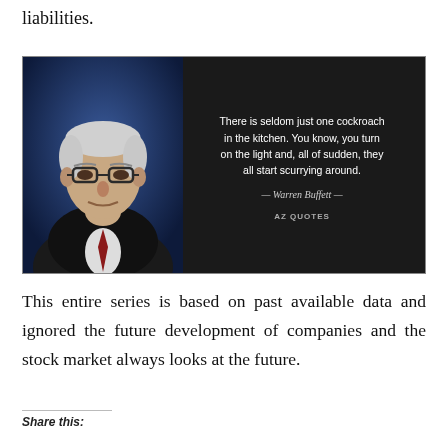liabilities.
[Figure (photo): Warren Buffett quote card from AZ Quotes. Left half shows a photo of an elderly man with white hair and glasses wearing a suit and red tie, against a dark blue background. Right half shows white text on black: 'There is seldom just one cockroach in the kitchen. You know, you turn on the light and, all of sudden, they all start scurrying around.' Attribution: — Warren Buffett — AZ QUOTES]
This entire series is based on past available data and ignored the future development of companies and the stock market always looks at the future.
Share this: